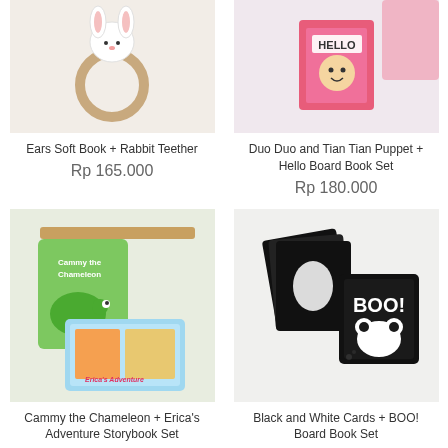[Figure (photo): Rabbit teether toy with wooden ring and plush bunny head on white background]
Ears Soft Book + Rabbit Teether
Rp 165.000
[Figure (photo): Hello board book with puppet toys and pink accessories on white background]
Duo Duo and Tian Tian Puppet + Hello Board Book Set
Rp 180.000
[Figure (photo): Cammy the Chameleon and Erica's Adventure storybooks displayed on wooden shelf]
Cammy the Chameleon + Erica's Adventure Storybook Set
Rp 165.000
[Figure (photo): Black and white high contrast cards with BOO! board book on white background]
Black and White Cards + BOO! Board Book Set
Rp 180.000